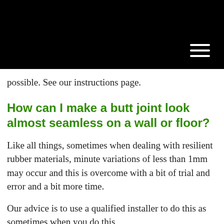[Figure (other): Black navigation header bar with a hamburger menu icon (three white horizontal lines) in the top-right corner]
possible. See our instructions page.
How can I make a butt joint look almost seamless on a wall or floor?
Like all things, sometimes when dealing with resilient rubber materials, minute variations of less than 1mm may occur and this is overcome with a bit of trial and error and a bit more time.
Our advice is to use a qualified installer to do this as sometimes when you do this...